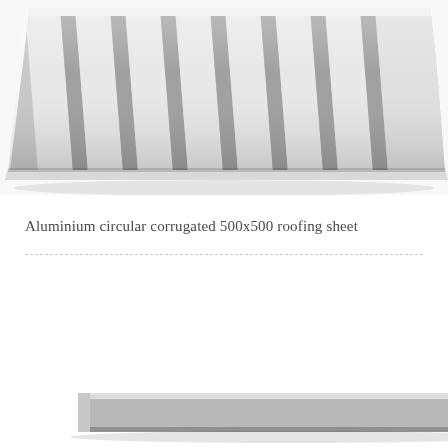[Figure (photo): Top view of corrugated aluminium roofing sheet showing circular corrugation pattern, silver/grey metallic, angled perspective view from top-left]
Aluminium circular corrugated 500x500 roofing sheet
[Figure (photo): Front edge view of a flat corrugated aluminium roofing sheet, showing the flat rectangular profile from the side, partially cropped at bottom of page]